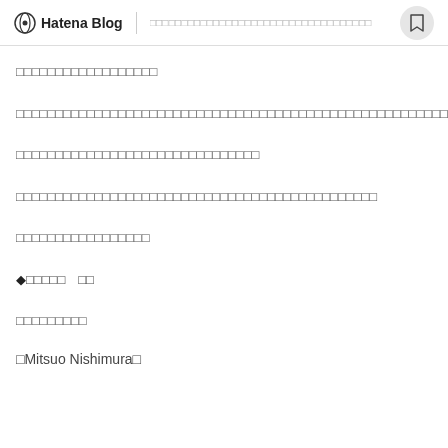Hatena Blog | □□□□□□□□□□□□□□□□□□□□□□□□□□□□□
□□□□□□□□□□□□□□□□□□
□□□□□□□□□□□□□□□□□□□□□□□□□□□□□□□□□□□□□□□□□□□□□□□□□□□□□□□□
□□□□□□□□□□□□□□□□□□□□□□□□□□□□□□□
□□□□□□□□□□□□□□□□□□□□□□□□□□□□□□□□□□□□□□□□□□□□□□
□□□□□□□□□□□□□□□□□
◆□□□□□　□□
□□□□□□□□□
□Mitsuo Nishimura□